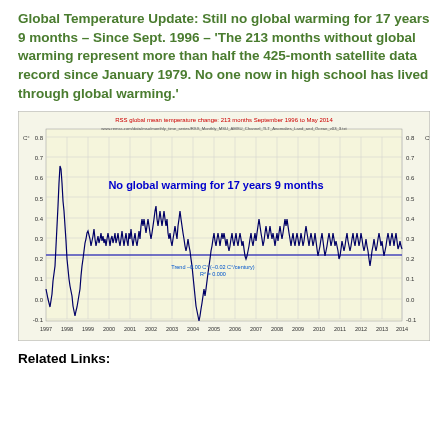Global Temperature Update: Still no global warming for 17 years 9 months – Since Sept. 1996 – 'The 213 months without global warming represent more than half the 425-month satellite data record since January 1979. No one now in high school has lived through global warming.'
[Figure (continuous-plot): Line chart showing RSS global mean temperature anomaly from 1997 to 2014. Y-axis ranges from -0.1 to 0.8 C°. A flat blue trend line at approximately 0.22 C° is shown. Annotation reads 'No global warming for 17 years 9 months' in blue. Trend label: Trend -0.00 C° (-0.02 C°/century), R²=0.000. X-axis labels: 1997 through 2014.]
Related Links: